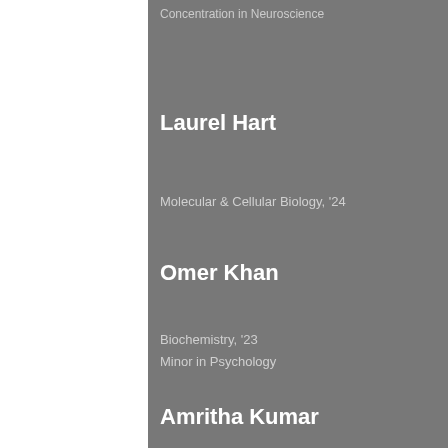Concentration in Neuroscience
Laurel Hart
Molecular & Cellular Biology, '24
Omer Khan
Biochemistry, '23
Minor in Psychology
Amritha Kumar
Psychology, '22
Sarika Kumar